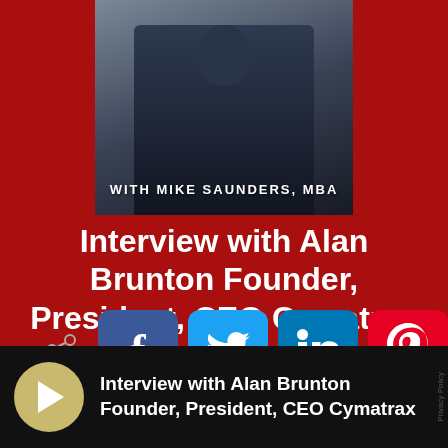[Figure (photo): Red banner with photo of a man in a blue suit with 'WITH MIKE SAUNDERS, MBA' text overlay, serving as a podcast show header image]
Interview with Alan Brunton Founder, President, CEO Cymatrax
[Figure (infographic): Social sharing icons row: share arrow icon, Facebook (blue), Twitter (light blue), LinkedIn (blue), Pinterest (red)]
[Figure (screenshot): Podcast audio player bar (black background) with gold play button circle and text: Interview with Alan Brunton Founder, President, CEO Cymatrax. Privacy Policy text on right edge.]